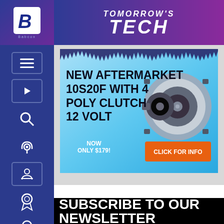TOMORROW'S TECH
[Figure (screenshot): Advertisement banner for New Aftermarket 10S20F with 4 Poly Clutch 12 Volt AC compressor, price NOW ONLY $179!, with CLICK FOR INFO button]
SUBSCRIBE TO OUR NEWSLETTER